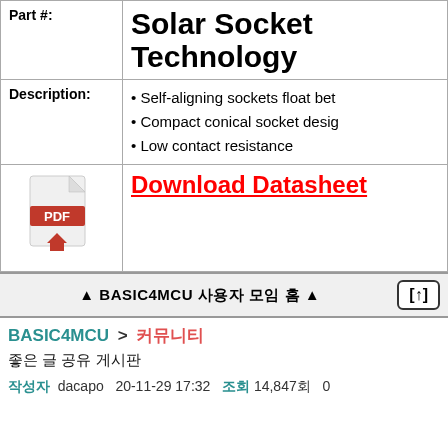Solar Socket Technology
Part #:
Self-aligning sockets float bet
Compact conical socket desig
Low contact resistance
[Figure (illustration): PDF file icon with red PDF label and download arrow]
Download Datasheet
▲ BASIC4MCU 사용자 모임 홈 ▲
BASIC4MCU > 커뮤니티
좋은 글 공유 게시판
작성자 dacapo 20-11-29 17:32 조회 14,847회 0